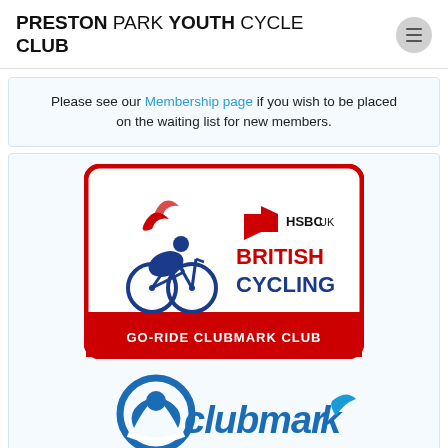PRESTON PARK YOUTH CYCLE CLUB
Please see our Membership page if you wish to be placed on the waiting list for new members.
[Figure (logo): HSBC UK British Cycling Go-Ride Clubmark Club badge — red rounded rectangle border, cyclist figure in blue/red, HSBC hexagon logo, text BRITISH CYCLING in red, GO-RIDE CLUBMARK CLUB in white on red banner]
[Figure (logo): Clubmark logo — blue circular person icon with leaf wings, italic blue 'clubmark' wordmark with a blue swoosh tick]